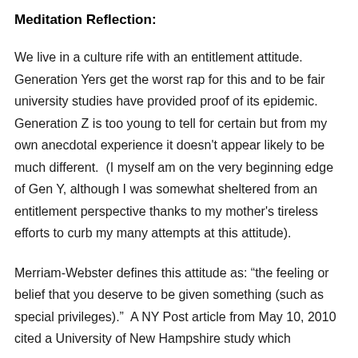Meditation Reflection:
We live in a culture rife with an entitlement attitude. Generation Yers get the worst rap for this and to be fair university studies have provided proof of its epidemic. Generation Z is too young to tell for certain but from my own anecdotal experience it doesn't appear likely to be much different.  (I myself am on the very beginning edge of Gen Y, although I was somewhat sheltered from an entitlement perspective thanks to my mother's tireless efforts to curb my many attempts at this attitude).
Merriam-Webster defines this attitude as: “the feeling or belief that you deserve to be given something (such as special privileges).”  A NY Post article from May 10, 2010 cited a University of New Hampshire study which concluded that “Gen Y…